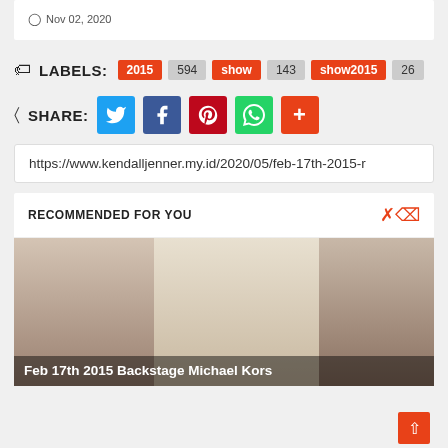Nov 02, 2020
LABELS: 2015 594 show 143 show2015 26
SHARE:
https://www.kendalljenner.my.id/2020/05/feb-17th-2015-r
RECOMMENDED FOR YOU
[Figure (photo): Three women with surprised/shocked expressions. Text overlay reads: Feb 17th 2015 Backstage Michael Kors]
Feb 17th 2015 Backstage Michael Kors